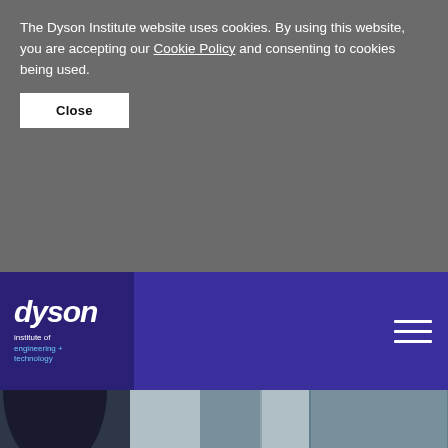The Dyson Institute website uses cookies. By using this website, you are accepting our Cookie Policy and consenting to cookies being used.
Close
[Figure (logo): Dyson Institute of Engineering + Technology logo — white italic 'dyson' wordmark above smaller text 'institute of engineering + technology' on dark navy/purple background square]
[Figure (photo): Students in a workshop or lab environment, showing people standing near equipment; the image is cropped showing torsos and lower bodies, with a whiteboard or display panel in the background]
The Degree